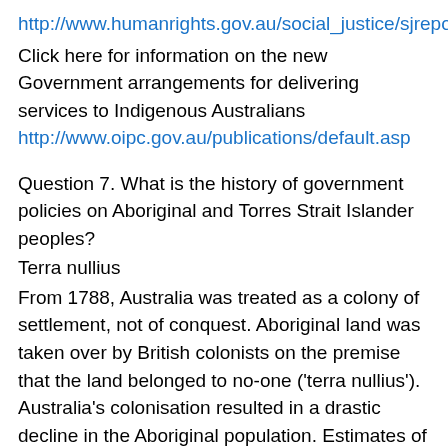http://www.humanrights.gov.au/social_justice/sjreport04/
Click here for information on the new Government arrangements for delivering services to Indigenous Australians http://www.oipc.gov.au/publications/default.asp
Question 7. What is the history of government policies on Aboriginal and Torres Strait Islander peoples?
Terra nullius
From 1788, Australia was treated as a colony of settlement, not of conquest. Aboriginal land was taken over by British colonists on the premise that the land belonged to no-one ('terra nullius'). Australia's colonisation resulted in a drastic decline in the Aboriginal population. Estimates of how many Indigenous people lived in Australia at the time of European settlement vary from 300,000 to 1 million. Estimates of the number of Indigenous people who died in frontier conflict also vary